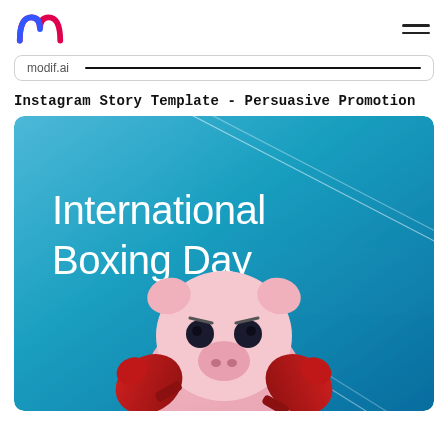modif.ai (logo and navigation)
modif.ai
Instagram Story Template - Persuasive Promotion
[Figure (illustration): Instagram story template with a blue gradient background, diagonal white lines, large white text reading 'International Boxing Day', and a 3D cartoon pink piggy bank character wearing red boxing gloves in the lower half of the image.]